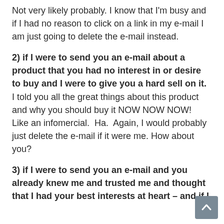Not very likely probably. I know that I'm busy and if I had no reason to click on a link in my e-mail I am just going to delete the e-mail instead.
2) if I were to send you an e-mail about a product that you had no interest in or desire to buy and I were to give you a hard sell on it. I told you all the great things about this product and why you should buy it NOW NOW NOW! Like an infomercial. Ha. Again, I would probably just delete the e-mail if it were me. How about you?
3) if I were to send you an e-mail and you already knew me and trusted me and thought that I had your best interests at heart – and if I